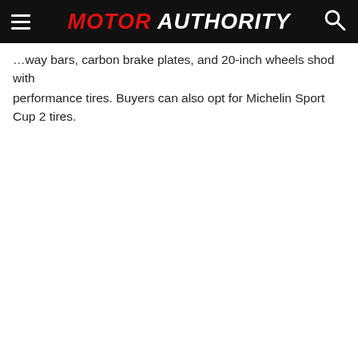MOTOR AUTHORITY
…way bars, carbon brake plates, and 20-inch wheels shod with performance tires. Buyers can also opt for Michelin Sport Cup 2 tires.